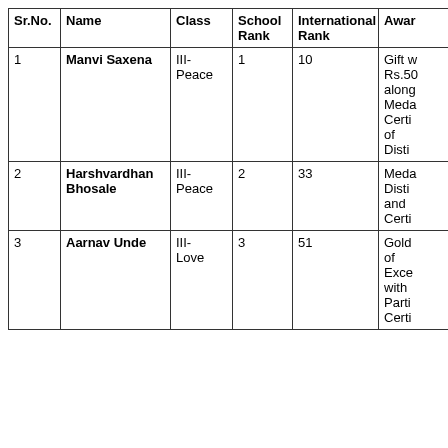| Sr.No. | Name | Class | School Rank | International Rank | Award |
| --- | --- | --- | --- | --- | --- |
| 1 | Manvi Saxena | III-Peace | 1 | 10 | Gift worth Rs.500 along with Medal, Certificate of Distinction |
| 2 | Harshvardhan Bhosale | III-Peace | 2 | 33 | Medal of Distinction and Certificate |
| 3 | Aarnav Unde | III-Love | 3 | 51 | Gold Certificate of Excellence with Participation Certificate |